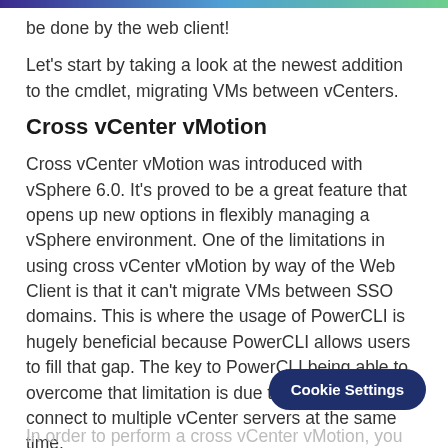be done by the web client!
Let's start by taking a look at the newest addition to the cmdlet, migrating VMs between vCenters.
Cross vCenter vMotion
Cross vCenter vMotion was introduced with vSphere 6.0. It's proved to be a great feature that opens up new options in flexibly managing a vSphere environment. One of the limitations in using cross vCenter vMotion by way of the Web Client is that it can't migrate VMs between SSO domains. This is where the usage of PowerCLI is hugely beneficial because PowerCLI allows users to fill that gap. The key to PowerCLI being able to overcome that limitation is due to its ability to connect to multiple vCenter servers at the same time.
In order to perform a cross vCenter vMotion, you need to...